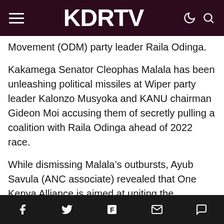KDRTV
Movement (ODM) party leader Raila Odinga.
Kakamega Senator Cleophas Malala has been unleashing political missiles at Wiper party leader Kalonzo Musyoka and KANU chairman Gideon Moi accusing them of secretly pulling a coalition with Raila Odinga ahead of 2022 race.
While dismissing Malala’s outbursts, Ayub Savula (ANC associate) revealed that One Kenya Alliance is aimed at uniting the country’s and pitching a victory ground in the next year’s general election. Speaking about the details of OKA’s crisis meeting on Monday, 30th, November, Savula states that the agenda of the meeting is to iron out the
f  ✓  Flipboard  ✉  ○